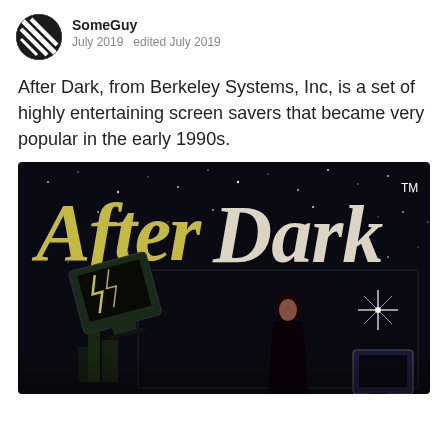[Figure (illustration): User avatar: circular profile picture with diagonal lines on black/white background]
SomeGuy
July 2019   edited July 2019
After Dark, from Berkeley Systems, Inc, is a set of highly entertaining screen savers that became very popular in the early 1990s.
[Figure (photo): After Dark software box art: dark background with stars, large yellow-green italic text 'After Dark' with trademark symbol, a tilted old-style computer monitor with lightning on screen, a woman in black dress, and a smaller monitor in bottom right corner.]